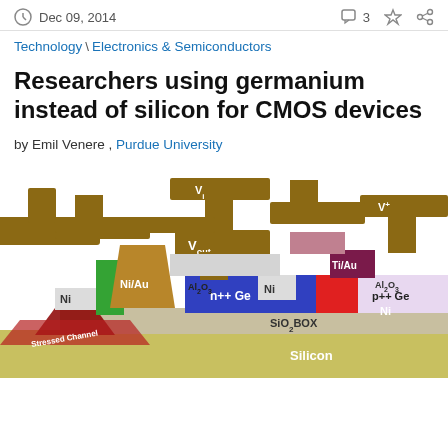Dec 09, 2014  |  3 comments
Technology \ Electronics & Semiconductors
Researchers using germanium instead of silicon for CMOS devices
by Emil Venere , Purdue University
[Figure (schematic): 3D schematic diagram of a CMOS device structure showing labeled components: GND, Vout, V+ contacts on gold/brown electrode bars; Ni/Au, Ni, Ti/Au metal contacts; Al2O3 dielectric layer; n++ Ge and p++ Ge semiconductor regions; SiO2 BOX (buried oxide); Silicon substrate; stressed channel regions labeled in red.]